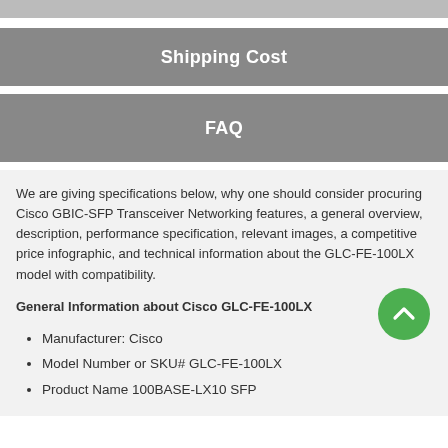Shipping Cost
FAQ
We are giving specifications below, why one should consider procuring Cisco GBIC-SFP Transceiver Networking features, a general overview, description, performance specification, relevant images, a competitive price infographic, and technical information about the GLC-FE-100LX model with compatibility.
General Information about Cisco GLC-FE-100LX
Manufacturer: Cisco
Model Number or SKU# GLC-FE-100LX
Product Name 100BASE-LX10 SFP